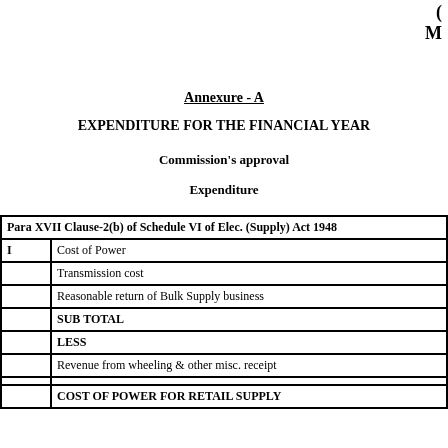M
Annexure - A
EXPENDITURE FOR THE FINANCIAL YEAR
Commission's approval
Expenditure
|  | Para XVII Clause-2(b) of Schedule VI of Elec. (Supply) Act 1948 |
| --- | --- |
| I | Cost of Power |
|  | Transmission cost |
|  | Reasonable return of Bulk Supply business |
|  | SUB TOTAL |
|  | LESS |
|  | Revenue from wheeling & other misc. receipt |
|  |  |
|  | COST OF POWER FOR RETAIL SUPPLY |